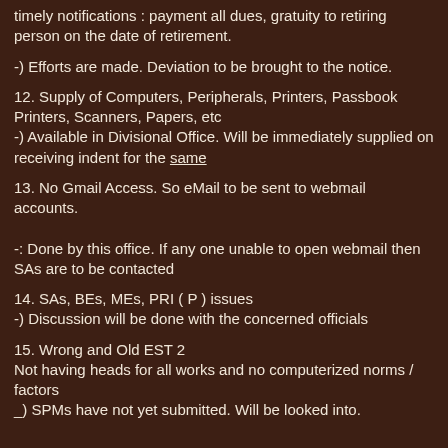timely notifications : payment all dues, gratuity to retiring person on the date of retirement.
-) Efforts are made. Deviation to be brought to the notice.
12. Supply of Computers, Peripherals, Printers, Passbook Printers, Scanners, Papers, etc
-) Available in Divisional Office. Will be immediately supplied on receiving indent for the same
13. No Gmail Access. So eMail to be sent to webmail accounts.
-: Done by this office. If any one unable to open webmail then SAs are to be contacted
14. SAs, BEs, MEs, PRI ( P ) issues
-) Discussion will be done with the concerned officials
15. Wrong and Old EST 2
Not having heads for all works and no computerized norms / factors
_) SPMs have not yet submitted. Will be looked into.